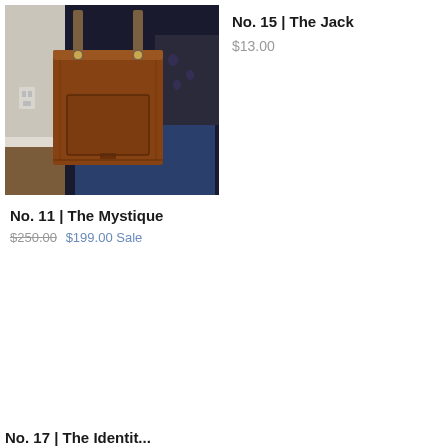[Figure (photo): Person holding a brown leather tote bag with a front pocket and gold hardware straps]
No. 15 | The Jack
$13.00
No. 11 | The Mystique
$250.00  $199.00 Sale
No. 17 | The Identit...